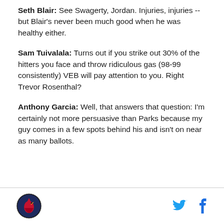Seth Blair: See Swagerty, Jordan. Injuries, injuries -- but Blair's never been much good when he was healthy either.
Sam Tuivalala: Turns out if you strike out 30% of the hitters you face and throw ridiculous gas (98-99 consistently) VEB will pay attention to you. Right Trevor Rosenthal?
Anthony Garcia: Well, that answers that question: I'm certainly not more persuasive than Parks because my guy comes in a few spots behind his and isn't on near as many ballots.
[logo] [twitter] [facebook]